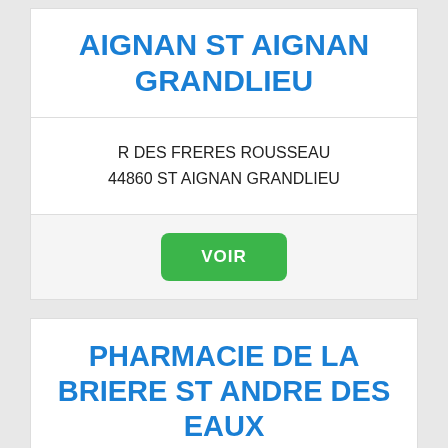AIGNAN ST AIGNAN GRANDLIEU
R DES FRERES ROUSSEAU
44860 ST AIGNAN GRANDLIEU
VOIR
PHARMACIE DE LA BRIERE ST ANDRE DES EAUX